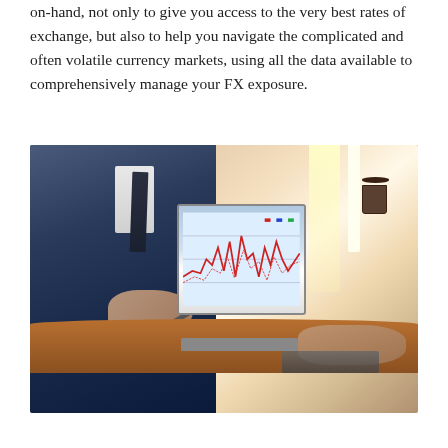on-hand, not only to give you access to the very best rates of exchange, but also to help you navigate the complicated and often volatile currency markets, using all the data available to comprehensively manage your FX exposure.
[Figure (photo): Two business professionals at a table with a laptop showing financial trading charts. One person in a blue suit is gesturing while talking, the other is typing on a laptop. Documents with charts are visible on the table.]